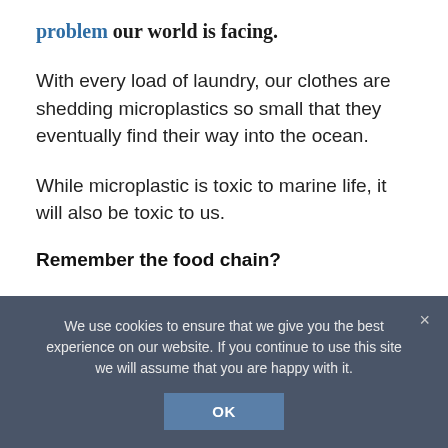problem our world is facing.
With every load of laundry, our clothes are shedding microplastics so small that they eventually find their way into the ocean.
While microplastic is toxic to marine life, it will also be toxic to us.
Remember the food chain?
While the scientists are looking for solutions to this problem, we can all lend a hand in the reduction of microplastics
We use cookies to ensure that we give you the best experience on our website. If you continue to use this site we will assume that you are happy with it.